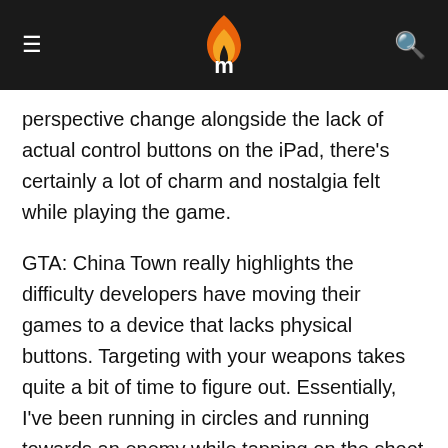Mobiapps logo and navigation
perspective change alongside the lack of actual control buttons on the iPad, there’s certainly a lot of charm and nostalgia felt while playing the game.
GTA: China Town really highlights the difficulty developers have moving their games to a device that lacks physical buttons. Targeting with your weapons takes quite a bit of time to figure out. Essentially, I’ve been running in circles and running towards an enemy while tapping on the shoot button. It works out alright, but it seems a little bit clumsy, and